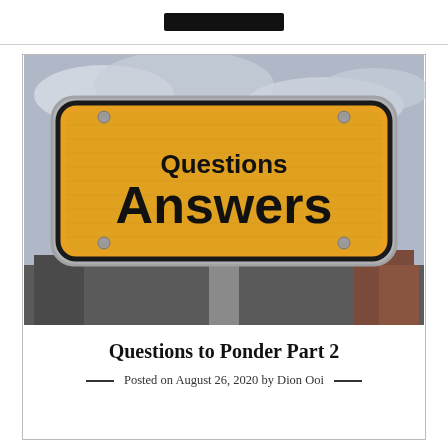[Figure (photo): A yellow German-style road sign with black text reading 'Questions' (smaller) above 'Answers' (large bold), mounted on a metal post against a cloudy sky with blurred buildings in background.]
Questions to Ponder Part 2
Posted on August 26, 2020 by Dion Ooi